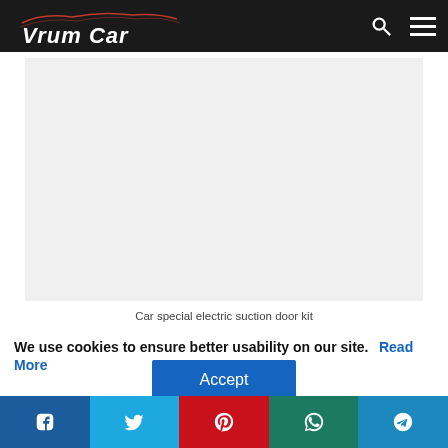Vrum Car
[Figure (photo): Light gray placeholder image area for car special electric suction door kit]
Car special electric suction door kit
We use cookies to ensure better usability on our site. Read More
Accept